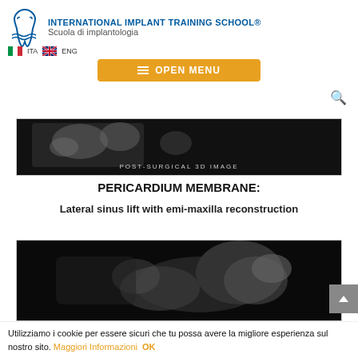[Figure (logo): International Implant Training School logo with tooth icon, Italian and UK flags, ITA and ENG language toggles, and orange OPEN MENU button]
[Figure (photo): Black background post-surgical 3D CT/CBCT image of dental implants with caption POST-SURGICAL 3D IMAGE]
PERICARDIUM MEMBRANE:
Lateral sinus lift with emi-maxilla reconstruction
[Figure (photo): Black background post-surgical 3D CT/CBCT image showing lateral view of sinus area with dental implants]
Utilizziamo i cookie per essere sicuri che tu possa avere la migliore esperienza sul nostro sito. Maggiori Informazioni OK